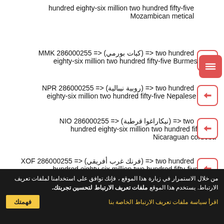hundred eighty-six million two hundred fifty-five Mozambican metical
two hundred <= (كيات بورمي) <= MMK 286000255 eighty-six million two hundred fifty-five Burmese kyat
two hundred <= (روبية نيبالية) <= NPR 286000255 eighty-six million two hundred fifty-five Nepalese rupee
two <= (نيكاراغوا قرطبة) <= NIO 286000255 hundred eighty-six million two hundred fifty-five Nicaraguan cordoba
two hundred <= (فرنك غرب أفريقي) <= XOF 286000255 hundred eighty-six million two hundred fifty-five West
من خلال الاستمرار في زيارة هذا الموقع ، فإنك توافق على استخدامنا لملفات تعريف الارتباط. يستخدم هذا الموقع ملفات تعريف الارتباط لتحسين تجربتك.
اقرأ سياسة ملفات تعريف الارتباط الخاصة بنا
فهمتك